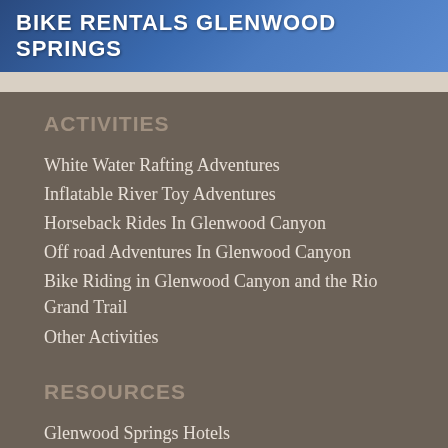BIKE RENTALS GLENWOOD SPRINGS
ACTIVITIES
White Water Rafting Adventures
Inflatable River Toy Adventures
Horseback Rides In Glenwood Canyon
Off road Adventures In Glenwood Canyon
Bike Riding in Glenwood Canyon and the Rio Grand Trail
Other Activities
RESOURCES
Glenwood Springs Hotels
Resources
Adventure Preparation